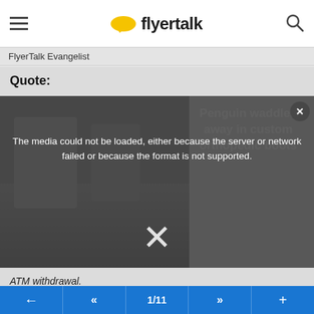flyertalk
FlyerTalk Evangelist
Quote:
[Figure (screenshot): Video player overlay showing error message: 'The media could not be loaded, either because the server or network failed or because the format is not supported.' with a large X dismiss button. Behind the overlay is a partially visible image with text 'Penguin waddles away in custom orthopedic boots'.]
ATM withdrawal.
Anyone can clarify?
Thanks
Edit:
I just chat with Fido online, agent told me 1% fee applies
1/11